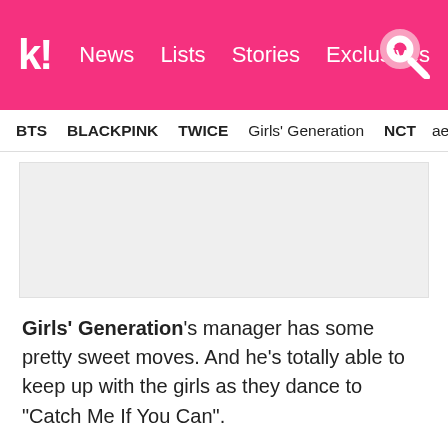k! News Lists Stories Exclusives
BTS BLACKPINK TWICE Girls' Generation NCT aespa
[Figure (other): Gray placeholder advertisement box]
Girls' Generation's manager has some pretty sweet moves. And he's totally able to keep up with the girls as they dance to “Catch Me If You Can”.
15. A hug for INFINITE’s Sunggyu